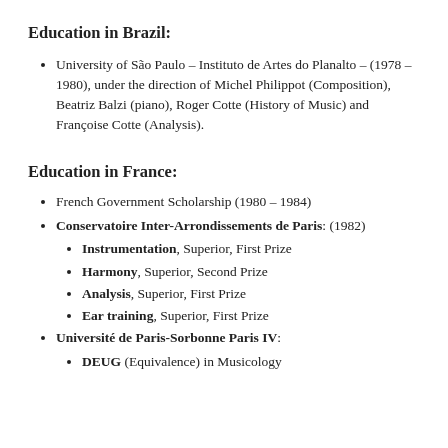Education in Brazil:
University of São Paulo – Instituto de Artes do Planalto – (1978 – 1980), under the direction of Michel Philippot (Composition), Beatriz Balzi (piano), Roger Cotte (History of Music) and Françoise Cotte (Analysis).
Education in France:
French Government Scholarship (1980 – 1984)
Conservatoire Inter-Arrondissements de Paris: (1982)
Instrumentation, Superior, First Prize
Harmony, Superior, Second Prize
Analysis, Superior, First Prize
Ear training, Superior, First Prize
Université de Paris-Sorbonne Paris IV:
DEUG (Equivalence) in Musicology